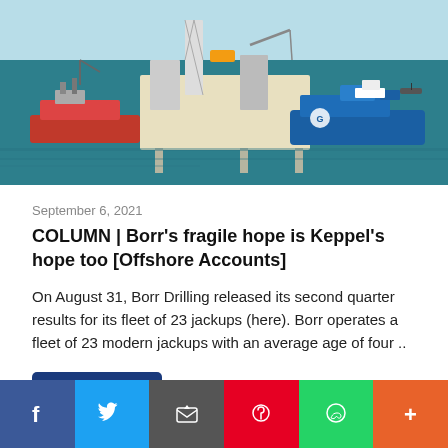[Figure (photo): Aerial view of offshore oil drilling jack-up rig platform with support vessels on blue-green water]
September 6, 2021
COLUMN | Borr's fragile hope is Keppel's hope too [Offshore Accounts]
On August 31, Borr Drilling released its second quarter results for its fleet of 23 jackups (here). Borr operates a fleet of 23 modern jackups with an average age of four ..
Read More